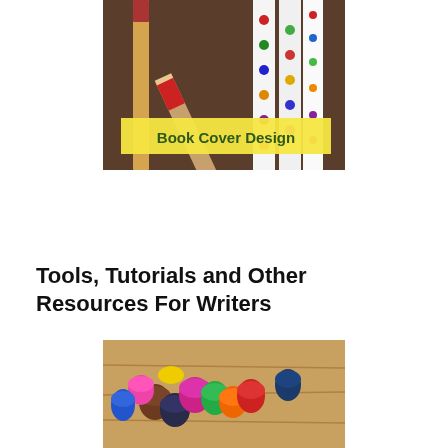[Figure (photo): Colored pencils arranged together with a yellow 'Book Cover Design' label banner overlaid on top]
Tools, Tutorials and Other Resources For Writers
[Figure (photo): Colorful marker pens arranged together viewed from above on a wooden surface]